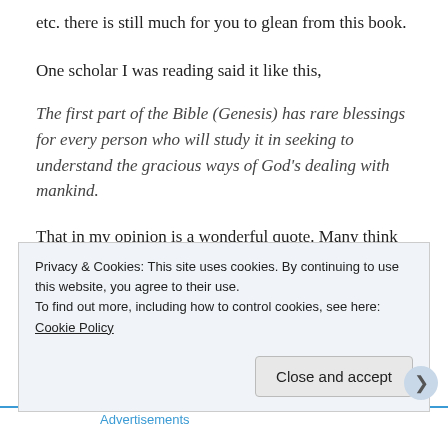etc. there is still much for you to glean from this book.
One scholar I was reading said it like this,
The first part of the Bible (Genesis) has rare blessings for every person who will study it in seeking to understand the gracious ways of God's dealing with mankind.
That in my opinion is a wonderful quote. Many think that the gospel, or grace, shows up simply
Privacy & Cookies: This site uses cookies. By continuing to use this website, you agree to their use.
To find out more, including how to control cookies, see here: Cookie Policy
Advertisements